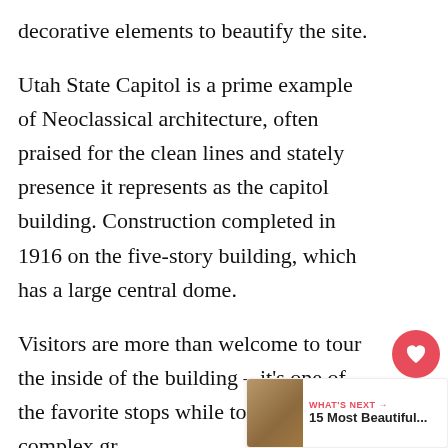decorative elements to beautify the site.
Utah State Capitol is a prime example of Neoclassical architecture, often praised for the clean lines and stately presence it represents as the capitol building. Construction completed in 1916 on the five-story building, which has a large central dome.
Visitors are more than welcome to tour the inside of the building – it's one of the favorite stops while touring the complex gr... Guided or self-guided tours take guests to